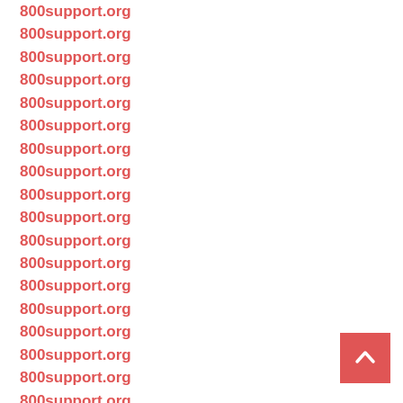800support.org
800support.org
800support.org
800support.org
800support.org
800support.org
800support.org
800support.org
800support.org
800support.org
800support.org
800support.org
800support.org
800support.org
800support.org
800support.org
800support.org
800support.org
800support.org
800support.org
[Figure (other): Back to top button - red square with white upward chevron arrow]